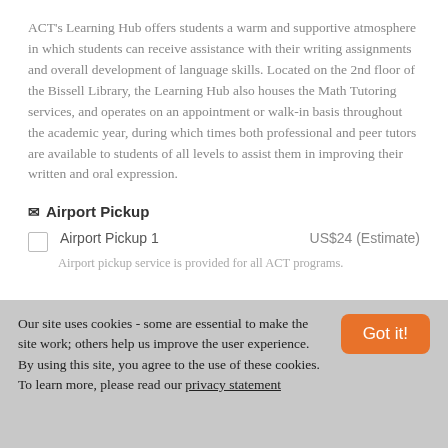ACT's Learning Hub offers students a warm and supportive atmosphere in which students can receive assistance with their writing assignments and overall development of language skills. Located on the 2nd floor of the Bissell Library, the Learning Hub also houses the Math Tutoring services, and operates on an appointment or walk-in basis throughout the academic year, during which times both professional and peer tutors are available to students of all levels to assist them in improving their written and oral expression.
✉ Airport Pickup
Airport Pickup 1  US$24 (Estimate)
Airport pickup service is provided for all ACT programs.
Our site uses cookies - some are essential to make the site work; others help us improve the user experience. By using this site, you agree to the use of these cookies. To learn more, please read our privacy statement